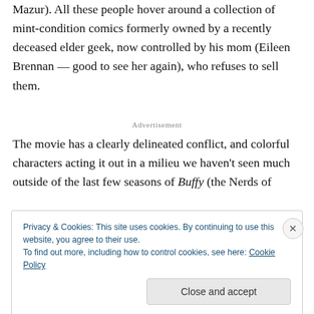Mazur). All these people hover around a collection of mint-condition comics formerly owned by a recently deceased elder geek, now controlled by his mom (Eileen Brennan — good to see her again), who refuses to sell them.
Advertisement
The movie has a clearly delineated conflict, and colorful characters acting it out in a milieu we haven't seen much outside of the last few seasons of Buffy (the Nerds of
Privacy & Cookies: This site uses cookies. By continuing to use this website, you agree to their use.
To find out more, including how to control cookies, see here: Cookie Policy
Close and accept